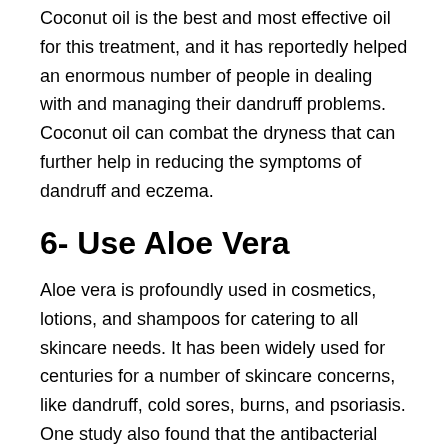Coconut oil is the best and most effective oil for this treatment, and it has reportedly helped an enormous number of people in dealing with and managing their dandruff problems. Coconut oil can combat the dryness that can further help in reducing the symptoms of dandruff and eczema.
6- Use Aloe Vera
Aloe vera is profoundly used in cosmetics, lotions, and shampoos for catering to all skincare needs. It has been widely used for centuries for a number of skincare concerns, like dandruff, cold sores, burns, and psoriasis. One study also found that the antibacterial and anti-inflammatory properties of aloe vera can protect your scalp from dandruff. Likewise, it was also discovered that aloe vera fights against the fungus that promotes dandruff on your scalp. However, more research is still required on the effects of aloe vera on...